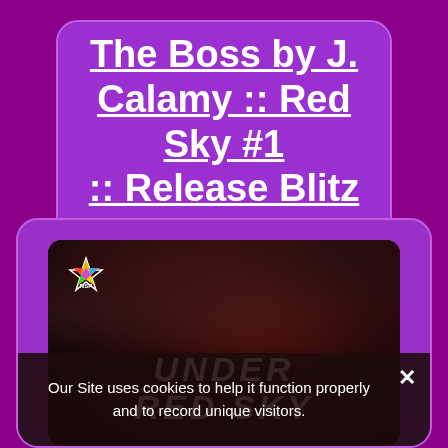The Boss by J. Calamy :: Red Sky #1 :: Release Blitz ::
[Figure (illustration): Book cover for 'Under Red Sky' with dark stormy clouds background and NSP publisher logo in top left corner. The title text 'UNDER RED SKY' appears partially visible at the bottom of the cover image.]
Our Site uses cookies to help it function properly and to record unique visitors.